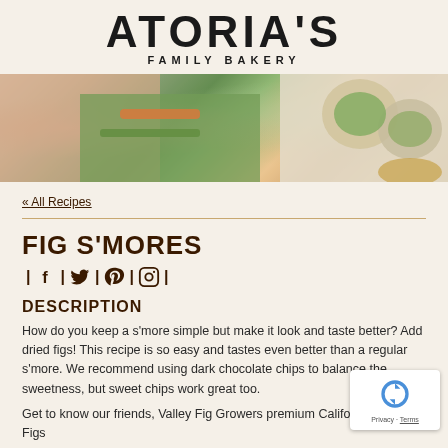[Figure (logo): Atoria's Family Bakery logo — bold uppercase text 'ATORIA'S' with 'FAMILY BAKERY' in smaller spaced caps beneath]
[Figure (photo): Banner photo of wraps and fresh vegetables on a marble surface, with hands preparing food on the left and plated wraps on the right]
« All Recipes
FIG S'MORES
[Figure (infographic): Social media share icons row: Facebook, Twitter, Pinterest, Instagram separated by vertical bars]
DESCRIPTION
How do you keep a s'more simple but make it look and taste better? Add dried figs! This recipe is so easy and tastes even better than a regular s'more. We recommend using dark chocolate chips to balance the sweetness, but sweet chips work great too.
Get to know our friends, Valley Fig Growers premium California Dried Figs